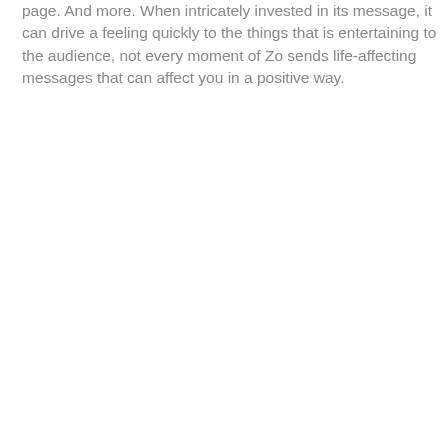page. And more. When intricately invested in its message, it can drive a feeling quickly to the things that is entertaining to the audience, not every moment of Zo sends life-affecting messages that can affect you in a positive way.